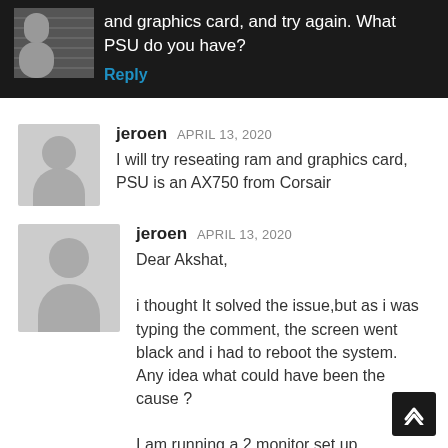and graphics card, and try again. What PSU do you have?
Reply
jeroen APRIL 13, 2020
I will try reseating ram and graphics card, PSU is an AX750 from Corsair
jeroen APRIL 13, 2020
Dear Akshat,
i thought It solved the issue,but as i was typing the comment, the screen went black and i had to reboot the system.
Any idea what could have been the cause ?
I am running a 2 monitor set up.